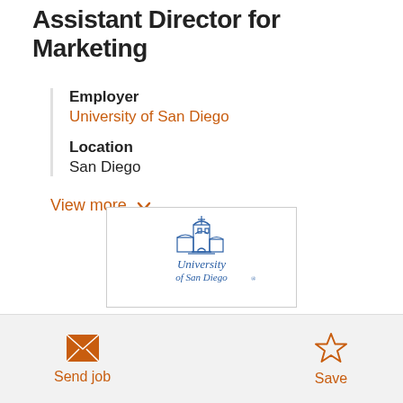Assistant Director for Marketing
Employer
University of San Diego
Location
San Diego
View more
[Figure (logo): University of San Diego logo with blue tower/mission building illustration and text 'University of San Diego']
Send job
Save